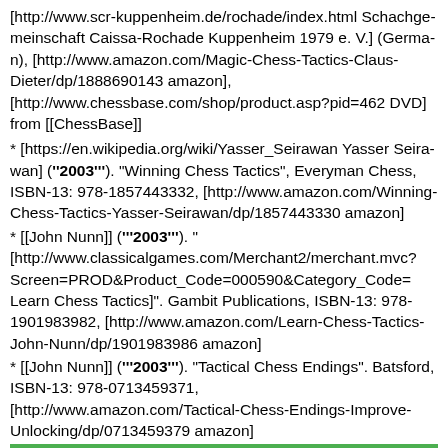[http://www.scr-kuppenheim.de/rochade/index.html Schachgemeinschaft Caissa-Rochade Kuppenheim 1979 e. V.] (German), [http://www.amazon.com/Magic-Chess-Tactics-Claus-Dieter/dp/1888690143 amazon], [http://www.chessbase.com/shop/product.asp?pid=462 DVD] from [[ChessBase]]
* [https://en.wikipedia.org/wiki/Yasser_Seirawan Yasser Seirawan] ('''2003'''). "Winning Chess Tactics", Everyman Chess, ISBN-13: 978-1857443332, [http://www.amazon.com/Winning-Chess-Tactics-Yasser-Seirawan/dp/1857443330 amazon]
* [[John Nunn]] ('''2003'''). "[http://www.classicalgames.com/Merchant2/merchant.mvc?Screen=PROD&Product_Code=000590&Category_Code= Learn Chess Tactics]". Gambit Publications, ISBN-13: 978-1901983982, [http://www.amazon.com/Learn-Chess-Tactics-John-Nunn/dp/1901983986 amazon]
* [[John Nunn]] ('''2003'''). "Tactical Chess Endings". Batsford, ISBN-13: 978-0713459371, [http://www.amazon.com/Tactical-Chess-Endings-Improve-Unlocking/dp/0713459379 amazon]
* [[Eric Schiller]], [https://en.wikipedia.org/wiki/Raymond_Keene Raymond Keene], [https://en.wikipedia.org/wiki/Leonid_Shamkovich Leonid Shamkovich] ('''2003'''). "[https://www.amazon.